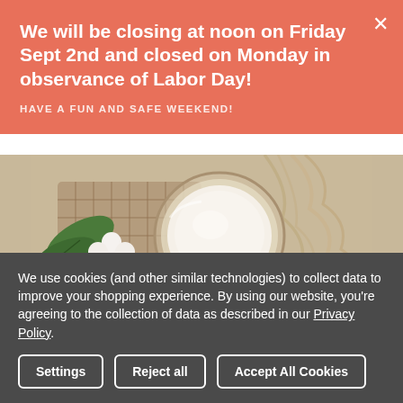We will be closing at noon on Friday Sept 2nd and closed on Monday in observance of Labor Day!
HAVE A FUN AND SAFE WEEKEND!
[Figure (photo): Top-down view of a spa/wellness scene: a round glass jar with white cream, white cotton flowers, green leaves, and cream-colored rope/twine on a sandy/beige textured background.]
We use cookies (and other similar technologies) to collect data to improve your shopping experience. By using our website, you're agreeing to the collection of data as described in our Privacy Policy.